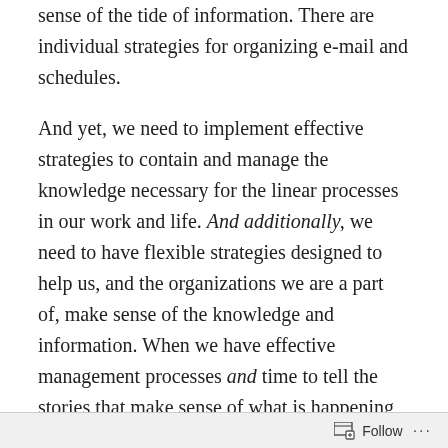sense of the tide of information. There are individual strategies for organizing e-mail and schedules.
And yet, we need to implement effective strategies to contain and manage the knowledge necessary for the linear processes in our work and life. And additionally, we need to have flexible strategies designed to help us, and the organizations we are a part of, make sense of the knowledge and information. When we have effective management processes and time to tell the stories that make sense of what is happening, our organizations will begin to thrive.
Having an effective process map and the narrative stories to give direction are not the only helpful things for organizations. It can also be helpful to go sailing with
Follow